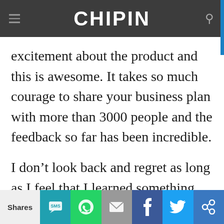CHIPIN
excitement about the product and this is awesome. It takes so much courage to share your business plan with more than 3000 people and the feedback so far has been incredible.
I don't look back and regret as long as I feel that I learned something from that situation. I wish I launched my pre-launch sale earlier, and would be much further along in product development now. It took me almost 6 months to believe that the vision and the plan we have
This site uses cookies. By continuing to browse, you are agreeing to our use of cookies
Privacy Preferences
Shares